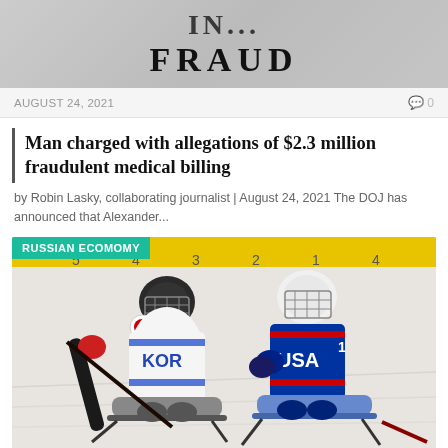[Figure (photo): Top image showing 'FRAUD' text on a document background, partially cropped]
AUGUST 24, 2021
0
Man charged with allegations of $2.3 million fraudulent medical billing
by Robin Lasky, collaborating journalist | August 24, 2021 The DOJ has announced that Alexander...
[Figure (photo): Photo of two sled hockey players on ice rink, one wearing Korea (KOR) uniform in white and one wearing USA uniform in blue, with 'RUSSIAN ECOMOMY' category tag overlay]